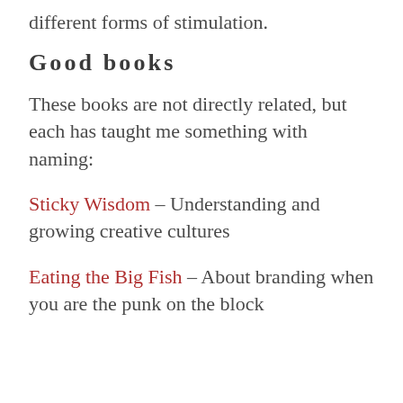different forms of stimulation.
Good books
These books are not directly related, but each has taught me something with naming:
Sticky Wisdom – Understanding and growing creative cultures
Eating the Big Fish – About branding when you are the punk on the block